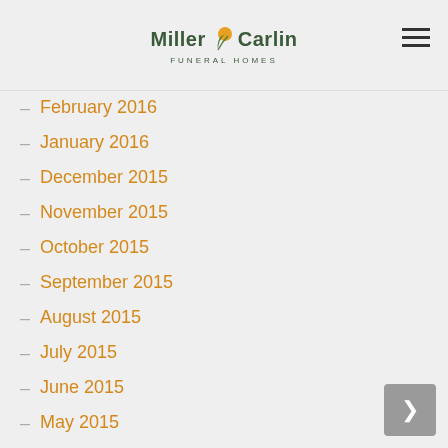Miller Carlin Funeral Homes
February 2016
January 2016
December 2015
November 2015
October 2015
September 2015
August 2015
July 2015
June 2015
May 2015
April 2015
March 2015
February 2015
January 2015